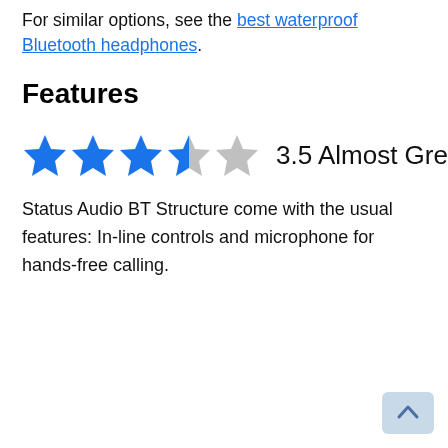For similar options, see the best waterproof Bluetooth headphones.
Features
[Figure (infographic): Star rating showing 3.5 out of 5 stars (3 full blue stars, 1 half blue/grey star, 1 empty grey star) followed by text '3.5 Almost Great']
Status Audio BT Structure come with the usual features: In-line controls and microphone for hands-free calling.